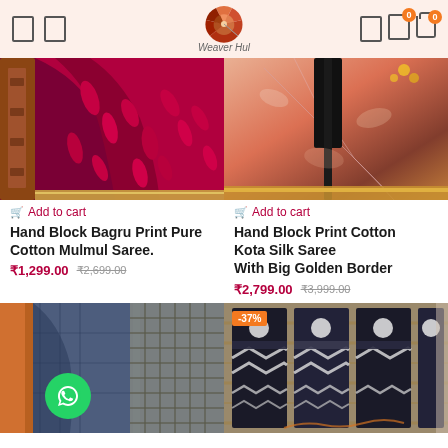Weaver Hul
[Figure (photo): Red/maroon Hand Block Bagru Print saree draped over wooden furniture]
[Figure (photo): Pink and orange Hand Block Print Cotton Kota Silk Saree with big golden border]
Add to cart
Add to cart
Hand Block Bagru Print Pure Cotton Mulmul Saree. ₹1,299.00 ₹2,699.00
Hand Block Print Cotton Kota Silk Saree With Big Golden Border ₹2,799.00 ₹3,999.00
[Figure (photo): Dark blue indigo cotton saree with WhatsApp chat button overlay]
[Figure (photo): Black and white patterned saree with -37% discount badge]